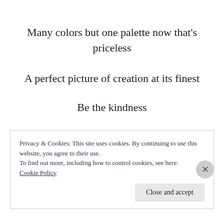Many colors but one palette now that’s priceless
A perfect picture of creation at its finest
Be the kindness
Stop the hatred
Privacy & Cookies: This site uses cookies. By continuing to use this website, you agree to their use.
To find out more, including how to control cookies, see here: Cookie Policy
Close and accept